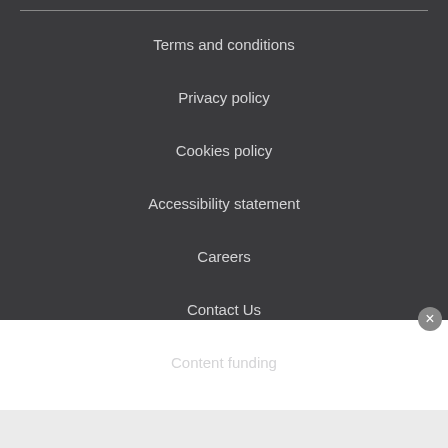Terms and conditions
Privacy policy
Cookies policy
Accessibility statement
Careers
Contact Us
Content funding